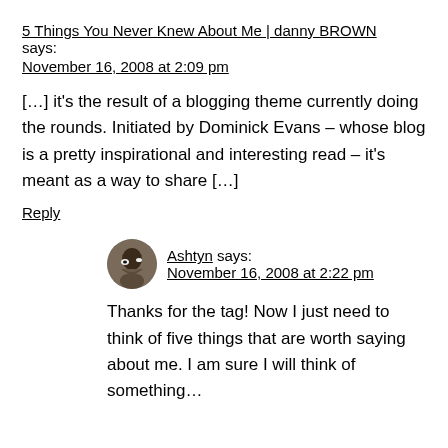5 Things You Never Knew About Me | danny BROWN says:
November 16, 2008 at 2:09 pm
[…] it's the result of a blogging theme currently doing the rounds. Initiated by Dominick Evans – whose blog is a pretty inspirational and interesting read – it's meant as a way to share […]
Reply
Ashtyn says:
November 16, 2008 at 2:22 pm
Thanks for the tag! Now I just need to think of five things that are worth saying about me. I am sure I will think of something…